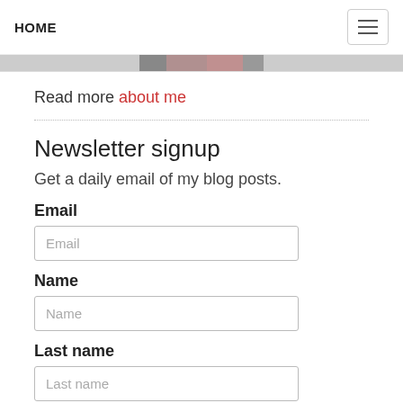HOME
[Figure (photo): Partial image strip at top of content area, appears to be a cropped photo]
Read more about me
Newsletter signup
Get a daily email of my blog posts.
Email
Name
Last name